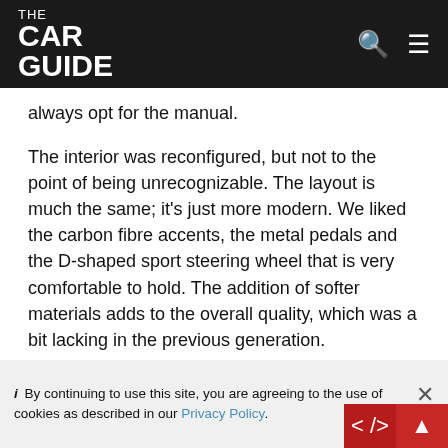THE CAR GUIDE
always opt for the manual.
The interior was reconfigured, but not to the point of being unrecognizable. The layout is much the same; it's just more modern. We liked the carbon fibre accents, the metal pedals and the D-shaped sport steering wheel that is very comfortable to hold. The addition of softer materials adds to the overall quality, which was a bit lacking in the previous generation.
It goes without saying that the WRX STI will be based on this WRX. With all the changes that were made to the vehicle, it will be interesting to see what Subaru has kept up its sleeve for the STI.
i By continuing to use this site, you are agreeing to the use of cookies as described in our Privacy Policy.